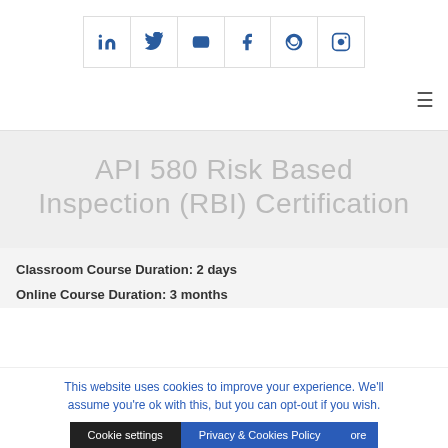[Figure (other): Social media icon bar with LinkedIn, Twitter, YouTube, Facebook, Pinterest, and Instagram icons in blue]
[Figure (other): Hamburger menu icon (three horizontal lines) in top-right area]
API 580 Risk Based Inspection (RBI) Certification
Classroom Course Duration: 2 days
Online Course Duration: 3 months
This website uses cookies to improve your experience. We'll assume you're ok with this, but you can opt-out if you wish.